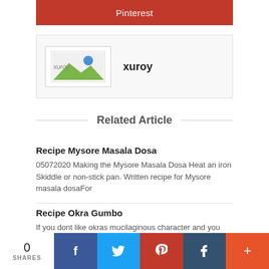[Figure (screenshot): Red Pinterest share button]
[Figure (screenshot): Author box with broken image placeholder and username 'xuroy']
Related Article
Recipe Mysore Masala Dosa
05072020 Making the Mysore Masala Dosa Heat an iron Skiddle or non-stick pan. Written recipe for Mysore masala dosaFor
Recipe Okra Gumbo
If you dont like okras mucilaginous character and you want to
[Figure (screenshot): Social sharing bar with 0 shares, Facebook, Twitter, Pinterest, Tumblr, and more buttons]